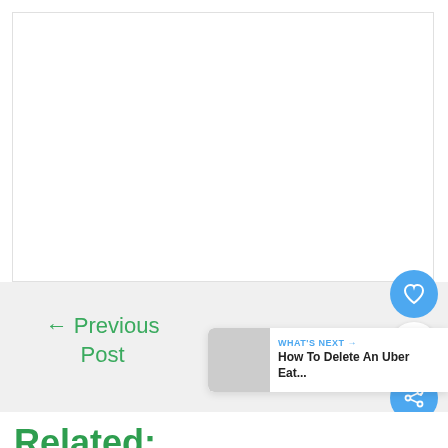[Figure (other): White content area / article body placeholder]
← Previous Post
Next Post →
[Figure (other): Heart/like button (blue circle with heart icon) and count badge showing 1, and share button]
[Figure (other): What's Next widget: WHAT'S NEXT → How To Delete An Uber Eat...]
Related: